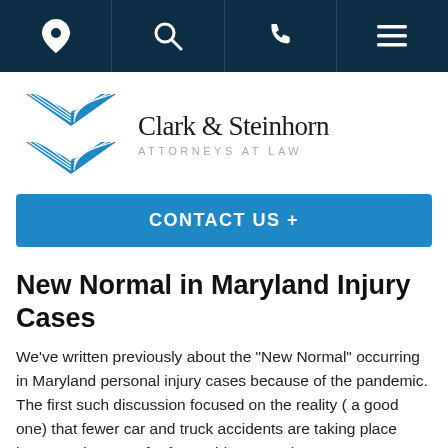Navigation bar with location, search, phone, and menu icons
[Figure (logo): Clark & Steinhorn Attorneys at Law logo with blue geometric stylized C&S chevron icon on the left and firm name in serif font on the right]
CONTACT US +
New Normal in Maryland Injury Cases
We've written previously about the "New Normal" occurring in Maryland personal injury cases because of the pandemic. The first such discussion focused on the reality ( a good one) that fewer car and truck accidents are taking place because there are far fewer drivers out there.